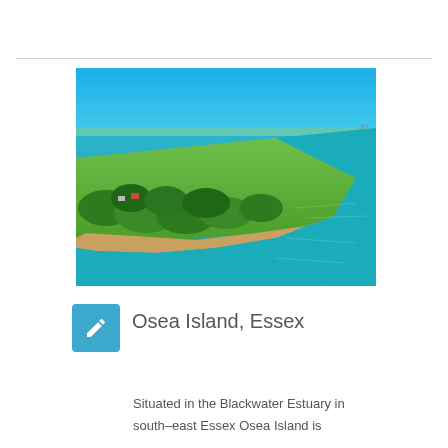[Figure (photo): Aerial view of Osea Island, Essex, showing a green landmass surrounded by blue estuary water, with trees, grass fields, and a sandy shoreline visible from above.]
Osea Island, Essex
Situated in the Blackwater Estuary in south–east Essex Osea Island is